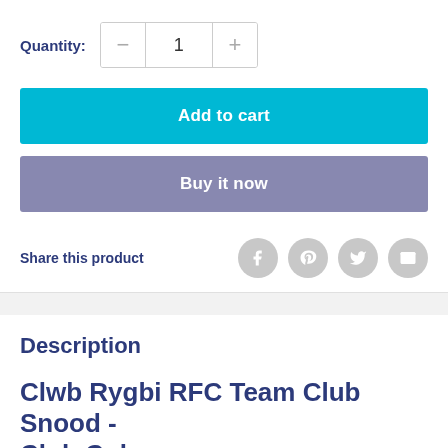Quantity:
Add to cart
Buy it now
Share this product
Description
Clwb Rygbi RFC Team Club Snood - Club Colours